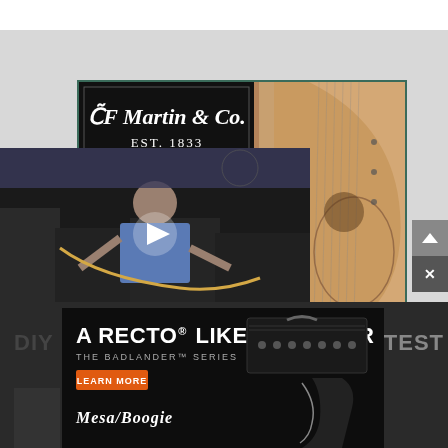[Figure (photo): CF Martin & Co. EST. 1833 logo on black background with acoustic guitar body visible on right side]
[Figure (screenshot): Video player showing a man playing electric guitar surrounded by amplifiers, with a play button overlay in the center]
[Figure (photo): Mesa/Boogie advertisement: 'A RECTO LIKE NO OTHER - THE BADLANDER SERIES' with an orange LEARN MORE button and image of guitar amplifier head with electric guitar]
DIY
LATEST